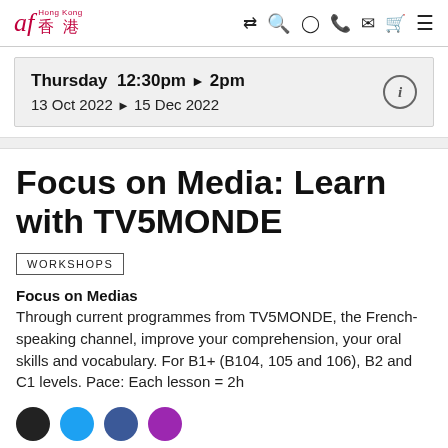af Hong Kong 香港
Thursday 12:30pm▶2pm
13 Oct 2022 ▶ 15 Dec 2022
Focus on Media: Learn with TV5MONDE
WORKSHOPS
Focus on Medias
Through current programmes from TV5MONDE, the French-speaking channel, improve your comprehension, your oral skills and vocabulary. For B1+ (B104, 105 and 106), B2 and C1 levels. Pace: Each lesson = 2h